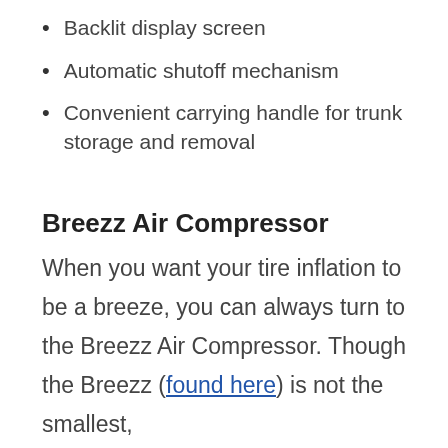Backlit display screen
Automatic shutoff mechanism
Convenient carrying handle for trunk storage and removal
Breezz Air Compressor
When you want your tire inflation to be a breeze, you can always turn to the Breezz Air Compressor. Though the Breezz (found here) is not the smallest,